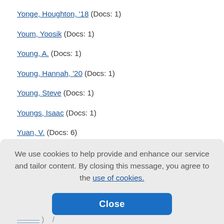Yonge, Houghton, '18 (Docs: 1)
Youm, Yoosik (Docs: 1)
Young, A. (Docs: 1)
Young, Hannah, '20 (Docs: 1)
Young, Steve (Docs: 1)
Youngs, Isaac (Docs: 1)
Yuan, V. (Docs: 6)
We use cookies to help provide and enhance our service and tailor content. By closing this message, you agree to the use of cookies.
Close